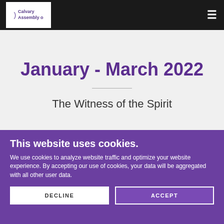[Figure (logo): Calvary Assembly logo in white box in navigation bar]
January - March 2022
The Witness of the Spirit
This website uses cookies.
We use cookies to analyze website traffic and optimize your website experience. By accepting our use of cookies, your data will be aggregated with all other user data.
DECLINE
ACCEPT